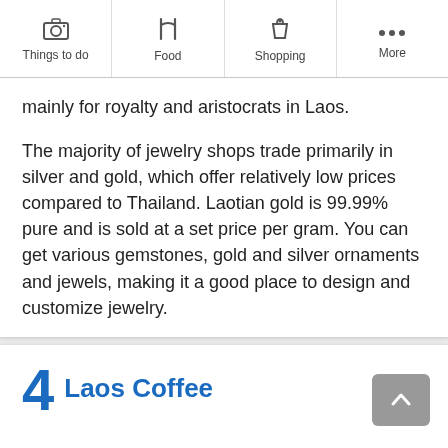Things to do | Food | Shopping | More
mainly for royalty and aristocrats in Laos.

The majority of jewelry shops trade primarily in silver and gold, which offer relatively low prices compared to Thailand. Laotian gold is 99.99% pure and is sold at a set price per gram. You can get various gemstones, gold and silver ornaments and jewels, making it a good place to design and customize jewelry.
4 Laos Coffee